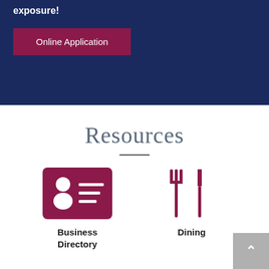exposure!
Online Application
Resources
[Figure (illustration): Business Directory icon: dark red rounded rectangle with a person silhouette and horizontal lines representing a business card/contact list]
Business Directory
[Figure (illustration): Dining icon: dark red fork and knife utensils]
Dining